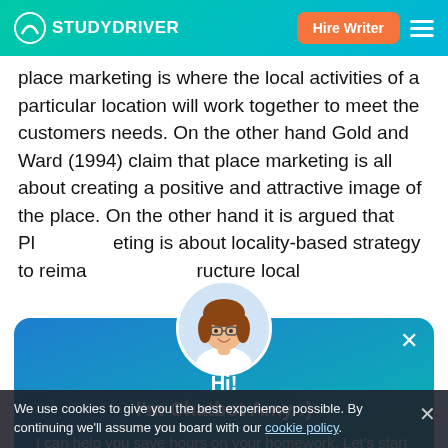STUDYDRIVER | Hire Writer
place marketing is where the local activities of a particular location will work together to meet the customers needs. On the other hand Gold and Ward (1994) claim that place marketing is all about creating a positive and attractive image of the place. On the other hand it is argued that Place Marketing is about locality-based strategy to reimagine and restructure local
[Figure (illustration): Chatbot Amy avatar: cartoon female with brown hair and glasses, circular cropped avatar image]
Hi!
I'm Chatbot Amy :)
I can help you save hours on your homework. Let's start by finding a writer.
Find Writer
integrated into place marketing (Stabier, 1990). Holden
We use cookies to give you the best experience possible. By continuing we'll assume you board with our cookie policy.